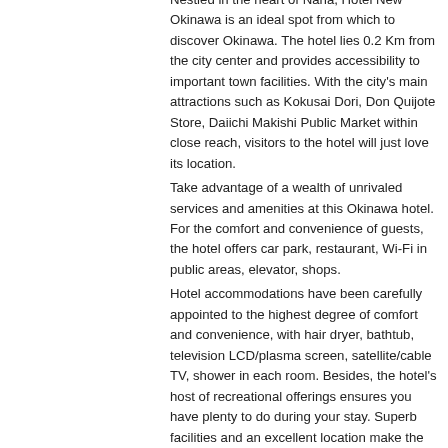Nestled in the heart of Naha, Hotel New Okinawa is an ideal spot from which to discover Okinawa. The hotel lies 0.2 Km from the city center and provides accessibility to important town facilities. With the city's main attractions such as Kokusai Dori, Don Quijote Store, Daiichi Makishi Public Market within close reach, visitors to the hotel will just love its location.
Take advantage of a wealth of unrivaled services and amenities at this Okinawa hotel. For the comfort and convenience of guests, the hotel offers car park, restaurant, Wi-Fi in public areas, elevator, shops.
Hotel accommodations have been carefully appointed to the highest degree of comfort and convenience, with hair dryer, bathtub, television LCD/plasma screen, satellite/cable TV, shower in each room. Besides, the hotel's host of recreational offerings ensures you have plenty to do during your stay. Superb facilities and an excellent location make the Hotel New Okinawa the perfect base from which to enjoy your stay in